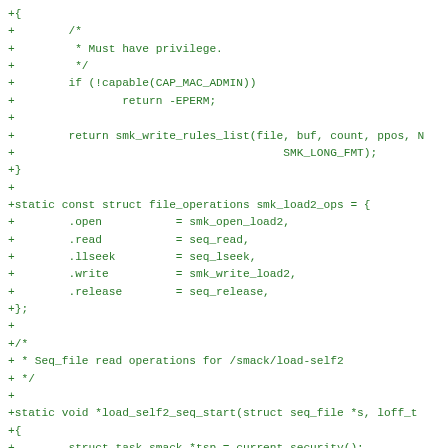[Figure (other): Source code diff showing C code additions for smack security module, including privilege check with capable(CAP_MAC_ADMIN), smk_write_rules_list call, smk_load2_ops file_operations struct, and load_self2_seq_start function stub.]